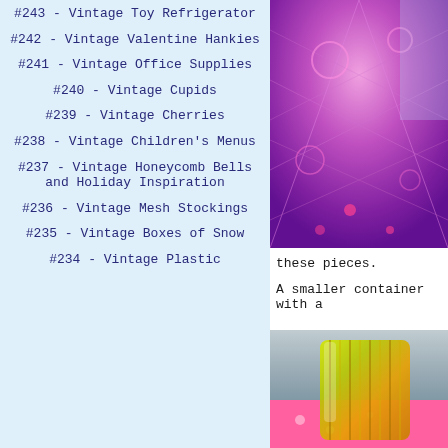#243 - Vintage Toy Refrigerator
#242 - Vintage Valentine Hankies
#241 - Vintage Office Supplies
#240 - Vintage Cupids
#239 - Vintage Cherries
#238 - Vintage Children's Menus
#237 - Vintage Honeycomb Bells and Holiday Inspiration
#236 - Vintage Mesh Stockings
#235 - Vintage Boxes of Snow
#234 - Vintage Plastic
[Figure (photo): Close-up of pink/purple cut crystal glass with star pattern]
these pieces.
A smaller container with a
[Figure (photo): Yellow-green ribbed glass container on pink surface with grey background]